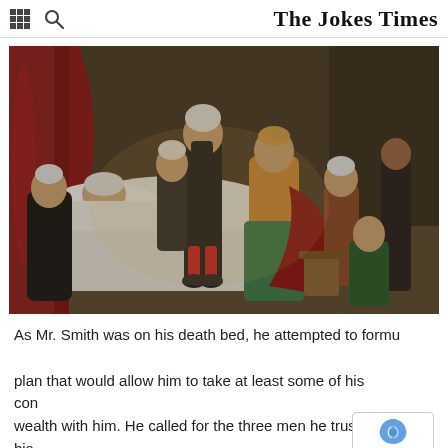The Jokes Times
[Figure (illustration): A classical painting depicting a deathbed scene with multiple figures in 18th century dress gathered around a person lying in bed.]
As Mr. Smith was on his death bed, he attempted to formulate a plan that would allow him to take at least some of his considerable wealth with him. He called for the three men he trusted most, his